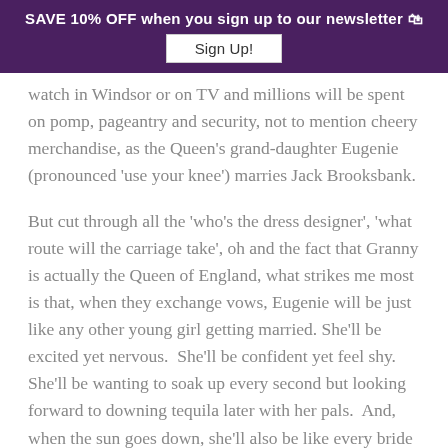SAVE 10% OFF when you sign up to our newsletter 🛍 Sign Up!
watch in Windsor or on TV and millions will be spent on pomp, pageantry and security, not to mention cheery merchandise, as the Queen's grand-daughter Eugenie (pronounced 'use your knee') marries Jack Brooksbank.
But cut through all the 'who's the dress designer', 'what route will the carriage take', oh and the fact that Granny is actually the Queen of England, what strikes me most is that, when they exchange vows, Eugenie will be just like any other young girl getting married. She'll be excited yet nervous.  She'll be confident yet feel shy.  She'll be wanting to soak up every second but looking forward to downing tequila later with her pals.  And, when the sun goes down, she'll also be like every bride and want to do it all over again.
A wedding day goes all to quickly for anyone.  The next day, the euphoria subsides and the tired bride and her